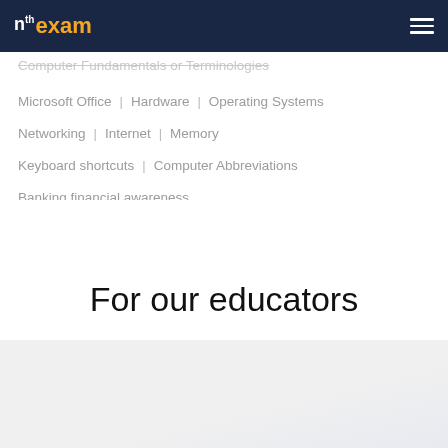nth exam
Computer Fundamentals or Terminologies
Microsoft Office   Hardware   Operating Systems
Networking   Internet   Memory
Keyboard shortcuts   Computer Abbreviations
Banking financial awareness
For our educators
[Figure (screenshot): Dashboard screenshot showing Student Batch page with Student Time vs Average Time bar chart and a right panel showing GATE exam details with student Virat Rohit in GTI GATE Rankers Batch]